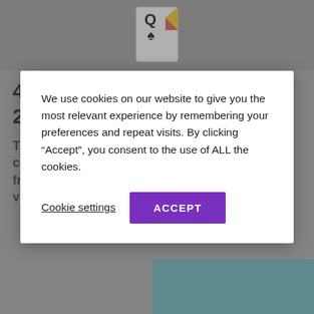[Figure (logo): Playing card logo with queen of spades and colorful graphic elements]
4GAMECHANGERS Festival 2019 in Vienna
This year it was all about building new bridges connecting the most important Entrepreneurs from the heart of Europe with the leading visionaries from Asia
We use cookies on our website to give you the most relevant experience by remembering your preferences and repeat visits. By clicking “Accept”, you consent to the use of ALL the cookies.
Cookie settings   ACCEPT